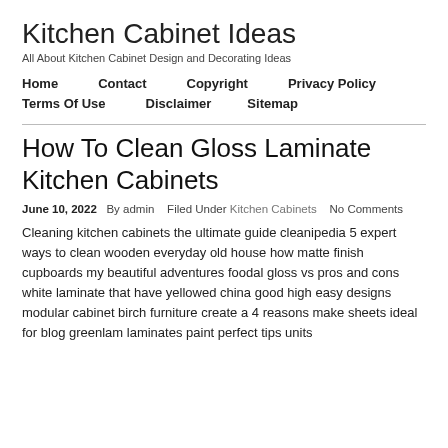Kitchen Cabinet Ideas
All About Kitchen Cabinet Design and Decorating Ideas
Home
Contact
Copyright
Privacy Policy
Terms Of Use
Disclaimer
Sitemap
How To Clean Gloss Laminate Kitchen Cabinets
June 10, 2022  By admin  Filed Under Kitchen Cabinets  No Comments
Cleaning kitchen cabinets the ultimate guide cleanipedia 5 expert ways to clean wooden everyday old house how matte finish cupboards my beautiful adventures foodal gloss vs pros and cons white laminate that have yellowed china good high easy designs modular cabinet birch furniture create a 4 reasons make sheets ideal for blog greenlam laminates paint perfect tips units